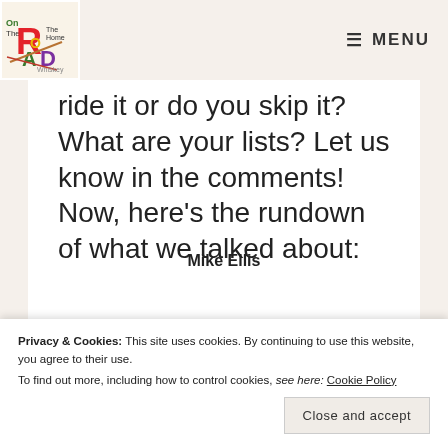MENU
ride it or do you skip it?  What are your lists? Let us know in the comments! Now, here's the rundown of what we talked about:
[READ MORE...]
Mike Ellis
Privacy & Cookies: This site uses cookies. By continuing to use this website, you agree to their use.
To find out more, including how to control cookies, see here: Cookie Policy
Close and accept